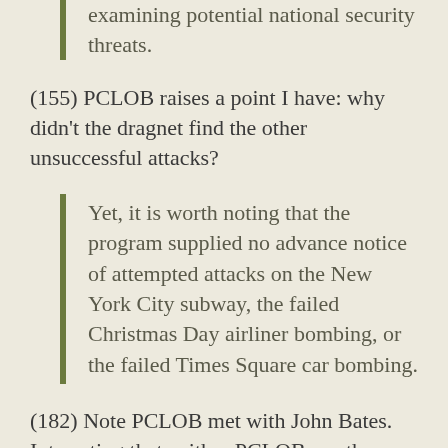examining potential national security threats.
(155) PCLOB raises a point I have: why didn't the dragnet find the other unsuccessful attacks?
Yet, it is worth noting that the program supplied no advance notice of attempted attacks on the New York City subway, the failed Christmas Day airliner bombing, or the failed Times Square car bombing.
(182) Note PCLOB met with John Bates. Interesting that neither PCLOB nor the Review Group were very sympathetic to FISC concerns.